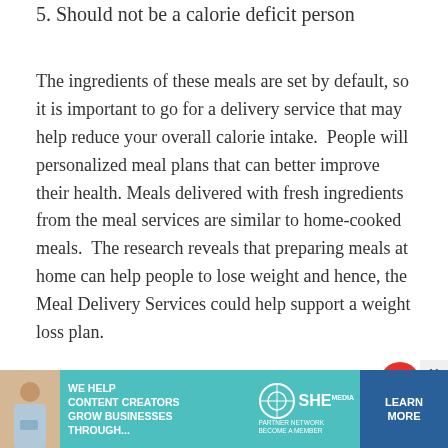5. Should not be a calorie deficit person
The ingredients of these meals are set by default, so it is important to go for a delivery service that may help reduce your overall calorie intake.  People will personalized meal plans that can better improve their health. Meals delivered with fresh ingredients from the meal services are similar to home-cooked meals.  The research reveals that preparing meals at home can help people to lose weight and hence, the Meal Delivery Services could help support a weight loss plan.
WEIGHT LOSS – VEGAN MEALS:
[Figure (infographic): Advertisement banner for SHE Media Partner Network: teal background with photo of woman, text 'WE HELP CONTENT CREATORS GROW BUSINESSES THROUGH...' and 'LEARN MORE' button in dark blue]